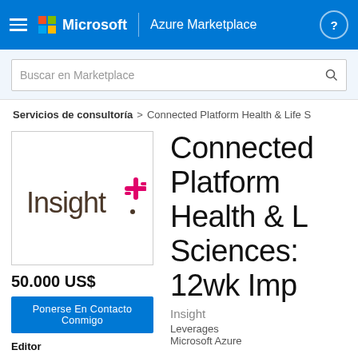Microsoft | Azure Marketplace
Buscar en Marketplace
Servicios de consultoría > Connected Platform Health & Life S
[Figure (logo): Insight logo with colorful plus sign icon]
50.000 US$
Ponerse En Contacto Conmigo
Editor
Connected Platform Health & Life Sciences: 12wk Imp
Insight
Leverages Microsoft Azure